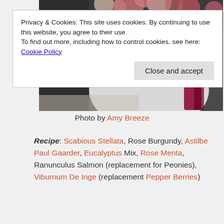[Figure (photo): Close-up photo of a floral bouquet with green leaves, white fabric, and dark red/burgundy elements in a dark background.]
Privacy & Cookies: This site uses cookies. By continuing to use this website, you agree to their use.
To find out more, including how to control cookies, see here: Cookie Policy
Photo by Amy Breeze
Recipe: Scabious Stellata, Rose Burgundy, Astilbe Paul Gaarder, Eucalyptus Mix, Rose Menta, Ranunculus Salmon (replacement for Peonies), Viburnum De Inge (replacement Pepper Berries)